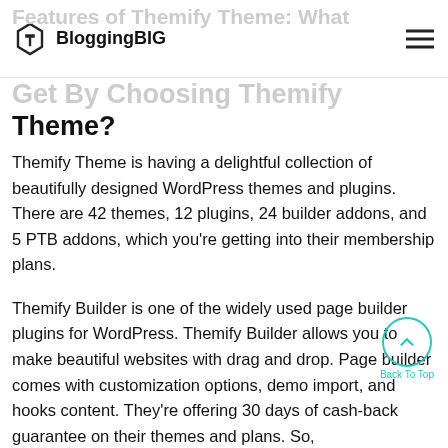BloggingBIG
Theme?
Themify Theme is having a delightful collection of beautifully designed WordPress themes and plugins. There are 42 themes, 12 plugins, 24 builder addons, and 5 PTB addons, which you’re getting into their membership plans.
Themify Builder is one of the widely used page builder plugins for WordPress. Themify Builder allows you to make beautiful websites with drag and drop. Page builder comes with customization options, demo import, and hooks content. They’re offering 30 days of cash-back guarantee on their themes and plans. So,